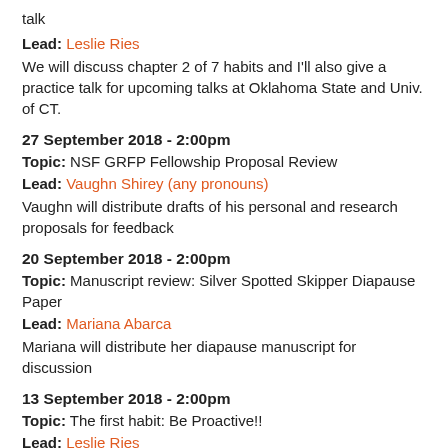talk
Lead: Leslie Ries
We will discuss chapter 2 of 7 habits and I'll also give a practice talk for upcoming talks at Oklahoma State and Univ. of CT.
27 September 2018 - 2:00pm
Topic: NSF GRFP Fellowship Proposal Review
Lead: Vaughn Shirey (any pronouns)
Vaughn will distribute drafts of his personal and research proposals for feedback
20 September 2018 - 2:00pm
Topic: Manuscript review: Silver Spotted Skipper Diapause Paper
Lead: Mariana Abarca
Mariana will distribute her diapause manuscript for discussion
13 September 2018 - 2:00pm
Topic: The first habit: Be Proactive!!
Lead: Leslie Ries